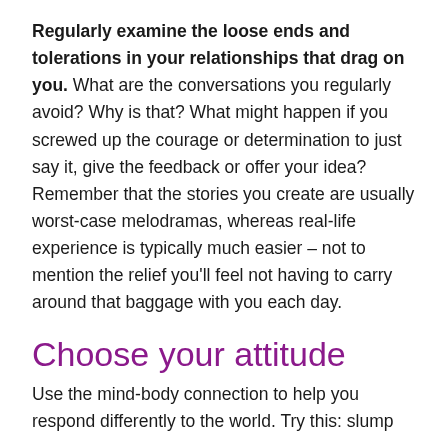Regularly examine the loose ends and tolerations in your relationships that drag on you. What are the conversations you regularly avoid? Why is that? What might happen if you screwed up the courage or determination to just say it, give the feedback or offer your idea? Remember that the stories you create are usually worst-case melodramas, whereas real-life experience is typically much easier – not to mention the relief you'll feel not having to carry around that baggage with you each day.
Choose your attitude
Use the mind-body connection to help you respond differently to the world. Try this: slump